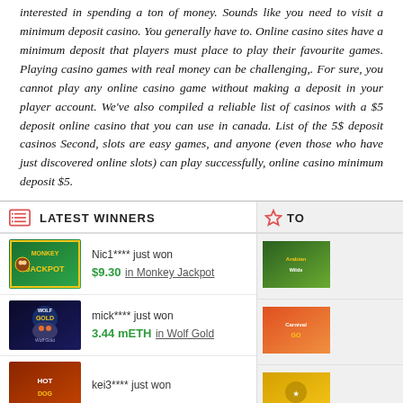interested in spending a ton of money. Sounds like you need to visit a minimum deposit casino. You generally have to. Online casino sites have a minimum deposit that players must place to play their favourite games. Playing casino games with real money can be challenging,. For sure, you cannot play any online casino game without making a deposit in your player account. We've also compiled a reliable list of casinos with a $5 deposit online casino that you can use in canada. List of the 5$ deposit casinos Second, slots are easy games, and anyone (even those who have just discovered online slots) can play successfully, online casino minimum deposit $5.
LATEST WINNERS
Nic1**** just won $9.30 in Monkey Jackpot
mick**** just won 3.44 mETH in Wolf Gold
kei3**** just won